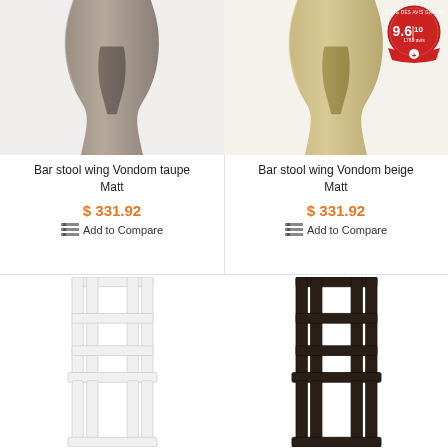[Figure (photo): Bar stool wing Vondom taupe Matt product photo - top portion visible, taupe/grey color]
[Figure (photo): Bar stool wing Vondom beige Matt product photo - top portion visible, beige/cream color, with rating badge 9.6/10]
Bar stool wing Vondom taupe Matt
$ 331.92
Add to Compare
Bar stool wing Vondom beige Matt
$ 331.92
Add to Compare
[Figure (photo): White bar stool with open frame construction, tall legs]
[Figure (photo): Dark brown/black bar stool with open frame construction, tall legs]